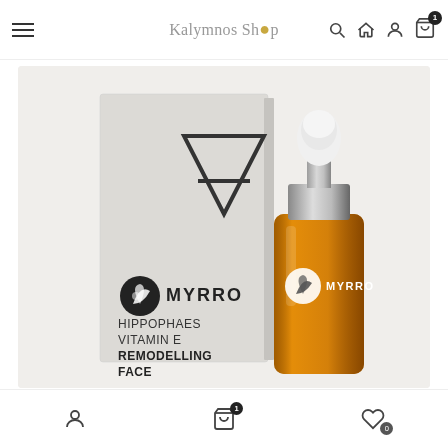Kalymnos Shop — navigation header with hamburger menu, search, home, account, and cart icons
[Figure (photo): Product photo of MYRRO Hippophaes Vitamin E Remodelling Face oil. Shows a white product box with a geometric triangle logo and MYRRO branding text reading HIPPOPHAES VITAMIN E REMODELLING FACE, alongside a dropper bottle filled with amber/golden oil, white rubber bulb and silver collar, with MYRRO logo on the bottle.]
Bottom navigation bar with account icon, cart icon with badge (1), and heart/wishlist icon with badge (0)